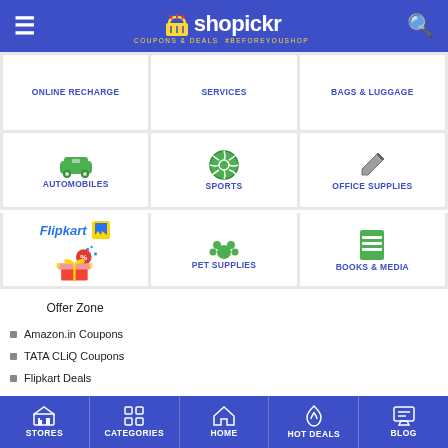[Figure (screenshot): Shopickr app header with logo, hamburger menu, and search icon on blue background]
ONLINE RECHARGE
SERVICES
BAGS & LUGGAGE
[Figure (illustration): Car icon for Automobiles category]
AUTOMOBILES
[Figure (illustration): Soccer ball icon for Sports category]
SPORTS
[Figure (illustration): Pen icon for Office Supplies category]
OFFICE SUPPLIES
[Figure (illustration): Flipkart Offer Zone promotional banner with gifts and percentage icon]
[Figure (illustration): Paw print icon for Pet Supplies category]
PET SUPPLIES
[Figure (illustration): Book icon for Books & Media category]
BOOKS & MEDIA
Offer Zone
Amazon.in Coupons
TATA CLiQ Coupons
Flipkart Deals
STORES  CATEGORIES  HOME  HOT DEALS  BLOG